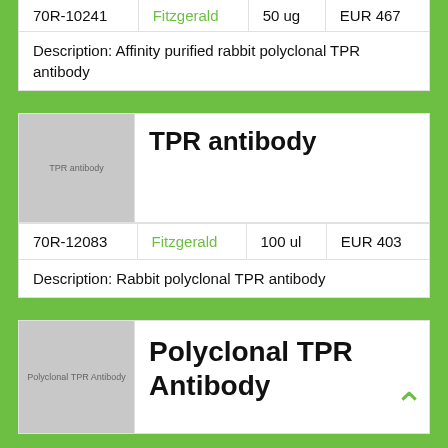| ID | Supplier | Size | Price |
| --- | --- | --- | --- |
| 70R-10241 | Fitzgerald | 50 ug | EUR 467 |
Description: Affinity purified rabbit polyclonal TPR antibody
[Figure (photo): Placeholder image labeled 'TPR antibody']
TPR antibody
| ID | Supplier | Size | Price |
| --- | --- | --- | --- |
| 70R-12083 | Fitzgerald | 100 ul | EUR 403 |
Description: Rabbit polyclonal TPR antibody
[Figure (photo): Placeholder image labeled 'Polyclonal TPR Antibody']
Polyclonal TPR Antibody